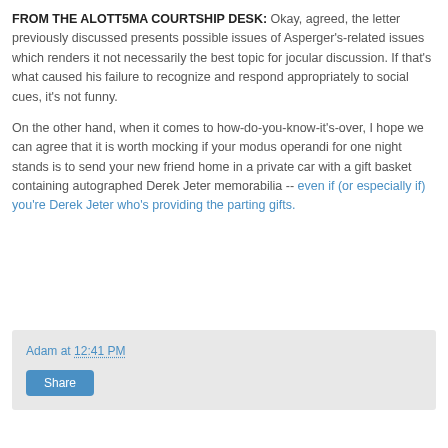FROM THE ALOTT5MA COURTSHIP DESK: Okay, agreed, the letter previously discussed presents possible issues of Asperger's-related issues which renders it not necessarily the best topic for jocular discussion. If that's what caused his failure to recognize and respond appropriately to social cues, it's not funny.
On the other hand, when it comes to how-do-you-know-it's-over, I hope we can agree that it is worth mocking if your modus operandi for one night stands is to send your new friend home in a private car with a gift basket containing autographed Derek Jeter memorabilia -- even if (or especially if) you're Derek Jeter who's providing the parting gifts.
Adam at 12:41 PM
Share